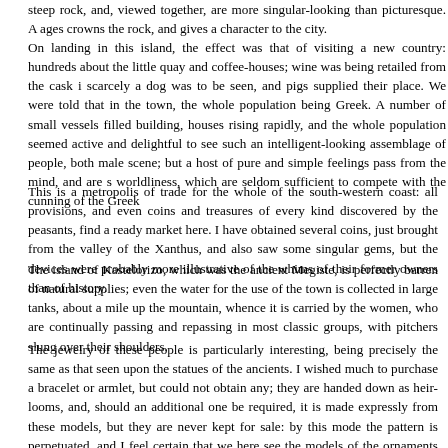steep rock, and, viewed together, are more singular-looking than picturesque. A... ages crowns the rock, and gives a character to the city.
On landing in this island, the effect was that of visiting a new country: hundreds about the little quay and coffee-houses; wine was being retailed from the cask i scarcely a dog was to be seen, and pigs supplied their place. We were told that in the town, the whole population being Greek. A number of small vessels filled building, houses rising rapidly, and the whole population seemed active and delightful to see such an intelligent-looking assemblage of people, both male scene; but a host of pure and simple feelings pass from the mind, and are s worldliness, which are seldom sufficient to compete with the cunning of the Greek
This is a metropolis of trade for the whole of the south-western coast: all provisions, and even coins and treasures of every kind discovered by the peasants, find a ready market here. I have obtained several coins, just brought from the valley of the Xanthus, and also saw some singular gems, but the devices were probably more illustrative of the whims of their former owners than of history.
The island of Kastelorizo, which was the ancient Megiste, is perfectly barren of natural supplies; even the water for the use of the town is collected in large tanks, about a mile up the mountain, whence it is carried by the women, who are continually passing and repassing in most classic groups, with pitchers slung over their shoulders.
The jewelry of these people is particularly interesting, being precisely the same as that seen upon the statues of the ancients. I wished much to purchase a bracelet or armlet, but could not obtain any; they are handed down as heir-looms, and, should an additional one be required, it is made expressly from these models, but they are never kept for sale: by this mode the pattern is perpetuated, and I feel certain that we here see the models of the ornaments of the ancient Greeks: several of these are often seen worn